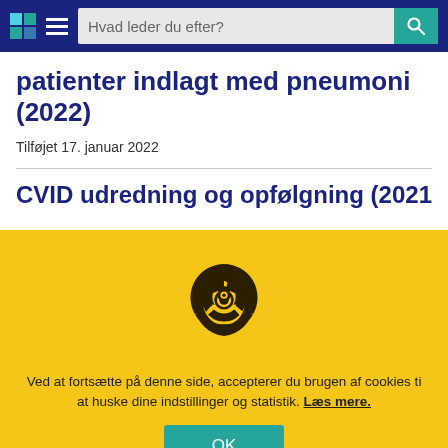Hvad leder du efter?
patienter indlagt med pneumoni (2022)
Tilføjet 17. januar 2022
CVID udredning og opfølgning (2021)
[Figure (illustration): Biohazard symbol icon in dark brown/black on yellow background]
Ved at fortsætte på denne side, accepterer du brugen af cookies ti at huske dine indstillinger og statistik. Læs mere.